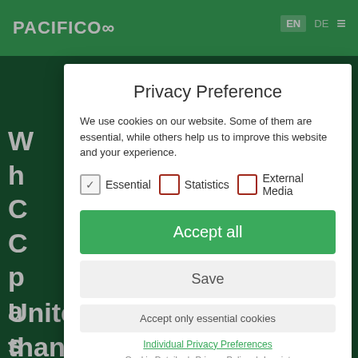[Figure (screenshot): Pacifico website header with green navigation bar showing PACIFICO logo (with infinity symbol), EN/DE language switcher, and hamburger menu icon]
Privacy Preference
We use cookies on our website. Some of them are essential, while others help us to improve this website and your experience.
Essential (checked) | Statistics (unchecked) | External Media (unchecked)
Accept all
Save
Accept only essential cookies
Individual Privacy Preferences
Cookie Details | Privacy Policy | Imprint